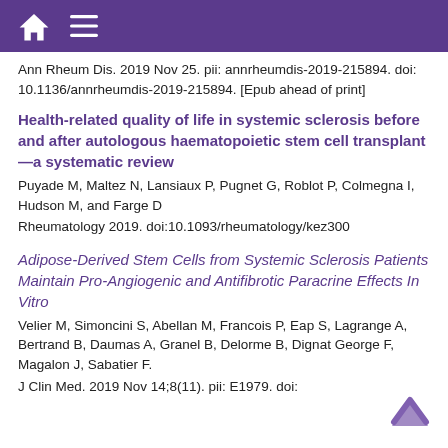Ann Rheum Dis. 2019 Nov 25. pii: annrheumdis-2019-215894. doi: 10.1136/annrheumdis-2019-215894. [Epub ahead of print]
Health-related quality of life in systemic sclerosis before and after autologous haematopoietic stem cell transplant—a systematic review
Puyade M, Maltez N, Lansiaux P, Pugnet G, Roblot P, Colmegna I, Hudson M, and Farge D
Rheumatology 2019. doi:10.1093/rheumatology/kez300
Adipose-Derived Stem Cells from Systemic Sclerosis Patients Maintain Pro-Angiogenic and Antifibrotic Paracrine Effects In Vitro
Velier M, Simoncini S, Abellan M, Francois P, Eap S, Lagrange A, Bertrand B, Daumas A, Granel B, Delorme B, Dignat George F, Magalon J, Sabatier F.
J Clin Med. 2019 Nov 14;8(11). pii: E1979. doi: